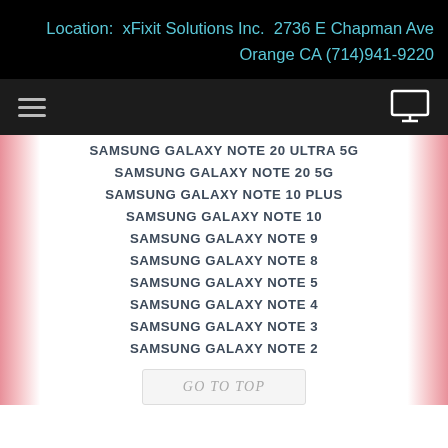Location: xFixit Solutions Inc. 2736 E Chapman Ave Orange CA (714)941-9220
SAMSUNG GALAXY NOTE 20 ULTRA 5G
SAMSUNG GALAXY NOTE 20 5G
SAMSUNG GALAXY NOTE 10 PLUS
SAMSUNG GALAXY NOTE 10
SAMSUNG GALAXY NOTE 9
SAMSUNG GALAXY NOTE 8
SAMSUNG GALAXY NOTE 5
SAMSUNG GALAXY NOTE 4
SAMSUNG GALAXY NOTE 3
SAMSUNG GALAXY NOTE 2
GO TO TOP